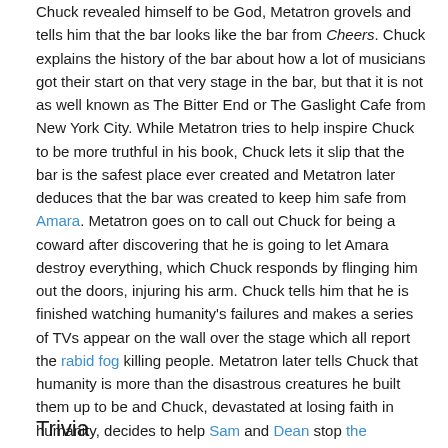Chuck revealed himself to be God, Metatron grovels and tells him that the bar looks like the bar from Cheers. Chuck explains the history of the bar about how a lot of musicians got their start on that very stage in the bar, but that it is not as well known as The Bitter End or The Gaslight Cafe from New York City. While Metatron tries to help inspire Chuck to be more truthful in his book, Chuck lets it slip that the bar is the safest place ever created and Metatron later deduces that the bar was created to keep him safe from Amara. Metatron goes on to call out Chuck for being a coward after discovering that he is going to let Amara destroy everything, which Chuck responds by flinging him out the doors, injuring his arm. Chuck tells him that he is finished watching humanity's failures and makes a series of TVs appear on the wall over the stage which all report the rabid fog killing people. Metatron later tells Chuck that humanity is more than the disastrous creatures he built them up to be and Chuck, devastated at losing faith in humanity, decides to help Sam and Dean stop the Darkness. While he plays a song, Metatron looks over his newly revised version of Chuck's autobiography and is shocked at its contents.
Trivia